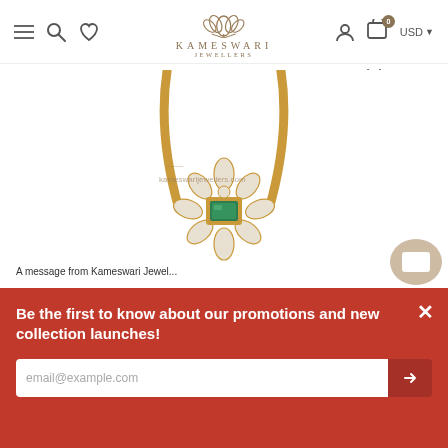KAMESWARI JEWELLERS — Navigation with hamburger, search, wishlist icons, user, cart (0), USD currency selector
[Figure (photo): Gold mangalsutra pendant with emerald green rectangular center stone surrounded by marquise-cut and pear-cut diamonds/white stones in a floral arrangement, with two long gold wishbone/V-shaped prongs extending upward. Watermark reads kameswarijewellers.com with logo. A popup text partially visible reads 'A message from Kameswari Jewel...']
Be the first to know about our promotions and new collection launches!
email@example.com